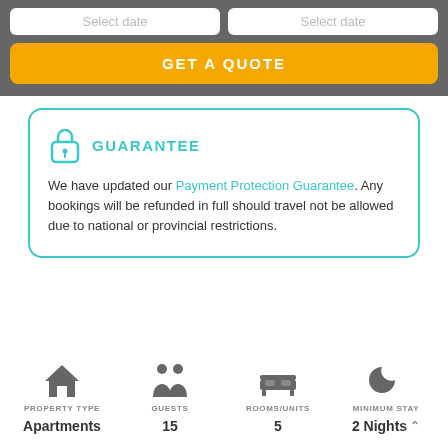[Figure (screenshot): Date input fields showing 'Select date' placeholders in white boxes on gray background]
GET A QUOTE
GUARANTEE
We have updated our Payment Protection Guarantee. Any bookings will be refunded in full should travel not be allowed due to national or provincial restrictions.
PROPERTY TYPE
Apartments
GUESTS
15
ROOMS/UNITS
5
MINIMUM STAY
2 Nights